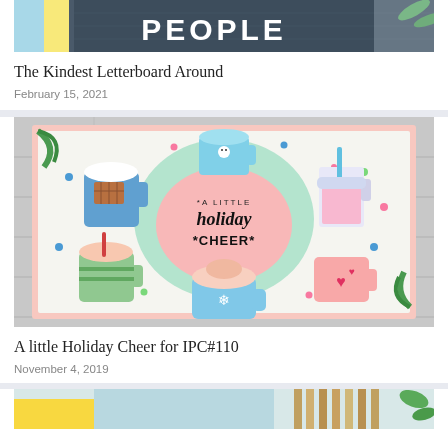[Figure (photo): Partial top image of a letterboard craft showing the word 'PEOPLE' with colorful paper and a pine branch decoration]
The Kindest Letterboard Around
February 15, 2021
[Figure (photo): A holiday card featuring multiple illustrated mugs and cups with the text '*A LITTLE holiday *CHEER*' in the center on a pastel background with colorful dot embellishments]
A little Holiday Cheer for IPC#110
November 4, 2019
[Figure (photo): Partial bottom image of another craft project with a light blue and yellow color scheme]